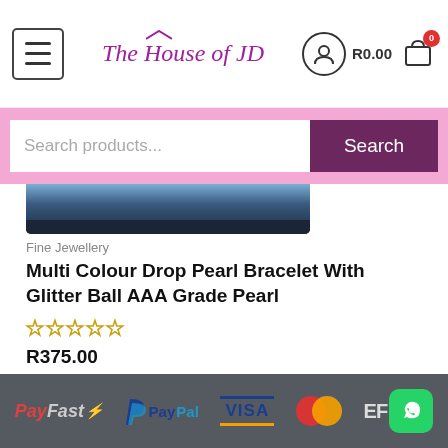The House of JD — R0.00 cart
Search products...
[Figure (photo): Partial product image of a bracelet, cropped at top, showing dark blue jewelry photo]
Fine Jewellery
Multi Colour Drop Pearl Bracelet With Glitter Ball AAA Grade Pearl
★★★★★ (0 out of 5 stars)
R375.00
Read more
PayFast PayPal VISA Mastercard EF WhatsApp